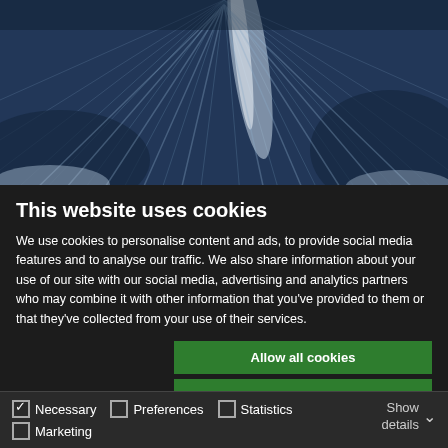[Figure (photo): Close-up abstract blue textured image resembling flower petals or natural fibers with white streaks]
This website uses cookies
We use cookies to personalise content and ads, to provide social media features and to analyse our traffic. We also share information about your use of our site with our social media, advertising and analytics partners who may combine it with other information that you've provided to them or that they've collected from your use of their services.
Allow all cookies
Allow selection
Use necessary cookies only
Necessary  Preferences  Statistics  Marketing  Show details